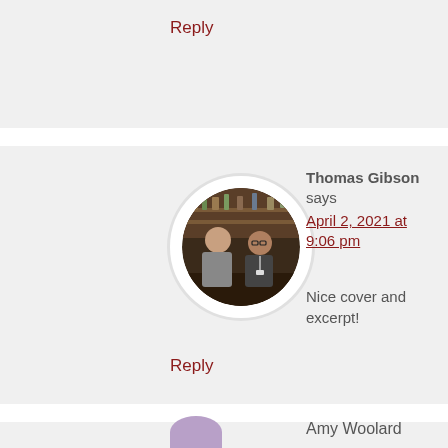Reply
[Figure (photo): Circular profile photo of two people standing in what appears to be a store or restaurant interior]
Thomas Gibson says
April 2, 2021 at 9:06 pm
Nice cover and excerpt!
Reply
Amy Woolard